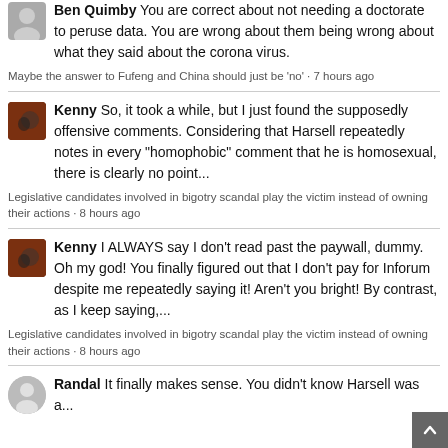Ben Quimby You are correct about not needing a doctorate to peruse data. You are wrong about them being wrong about what they said about the corona virus.
Maybe the answer to Fufeng and China should just be 'no' · 7 hours ago
Kenny So, it took a while, but I just found the supposedly offensive comments. Considering that Harsell repeatedly notes in every "homophobic" comment that he is homosexual, there is clearly no point...
Legislative candidates involved in bigotry scandal play the victim instead of owning their actions · 8 hours ago
Kenny I ALWAYS say I don't read past the paywall, dummy. Oh my god! You finally figured out that I don't pay for Inforum despite me repeatedly saying it! Aren't you bright! By contrast, as I keep saying,...
Legislative candidates involved in bigotry scandal play the victim instead of owning their actions · 8 hours ago
Randal It finally makes sense. You didn't know Harsell was a...